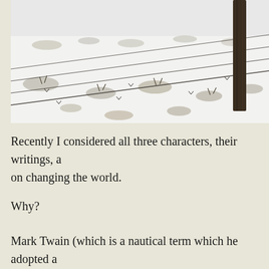[Figure (photo): Black and white photograph of a snowy field with barbed wire fence strands and a wooden fence post, with sparse grass or shrubs poking through the snow.]
Recently I considered all three characters, their writings, and their impact on changing the world.
Why?
Mark Twain (which is a nautical term which he adopted a...